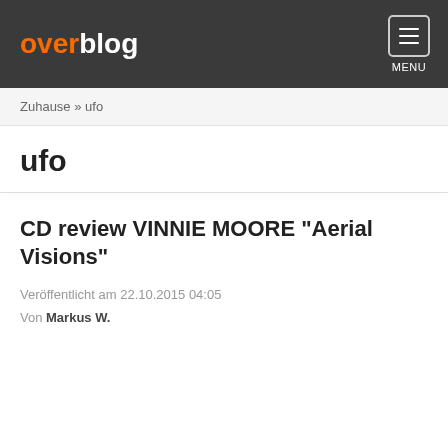overblog  MENU
Zuhause » ufo
ufo
CD review VINNIE MOORE "Aerial Visions"
Veröffentlicht am 22.10.2015 04:05
Von Markus W.